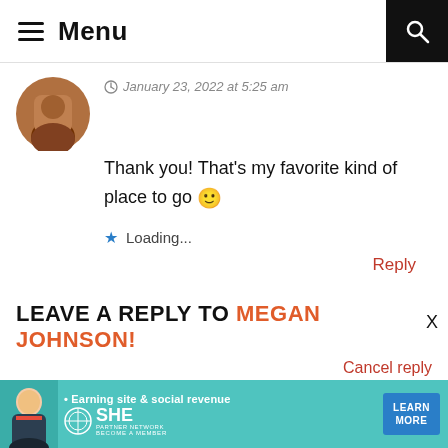Menu
January 23, 2022 at 5:25 am
Thank you! That's my favorite kind of place to go 🙂
Loading...
Reply
LEAVE A REPLY TO MEGAN JOHNSON!
Cancel reply